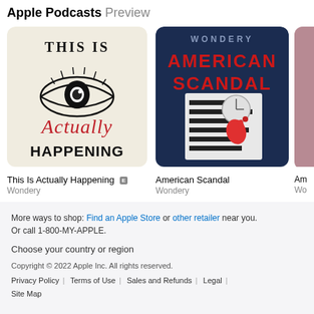Apple Podcasts Preview
[Figure (illustration): Podcast cover art for 'This Is Actually Happening' showing an eye illustration with text 'THIS IS' at top, 'Actually' in red script, and 'HAPPENING' in bold black at bottom, on cream background]
This Is Actually Happening [E]
Wondery
[Figure (illustration): Podcast cover art for 'American Scandal' showing WONDERY at top, AMERICAN SCANDAL in large red/white text, with a red whistle on a redacted document, dark blue background]
American Scandal
Wondery
[Figure (illustration): Partial third podcast cover art, cropped at right edge, pinkish/reddish tones]
Am...
Wo...
More ways to shop: Find an Apple Store or other retailer near you. Or call 1-800-MY-APPLE.
Choose your country or region
Copyright © 2022 Apple Inc. All rights reserved.
Privacy Policy | Terms of Use | Sales and Refunds | Legal | Site Map